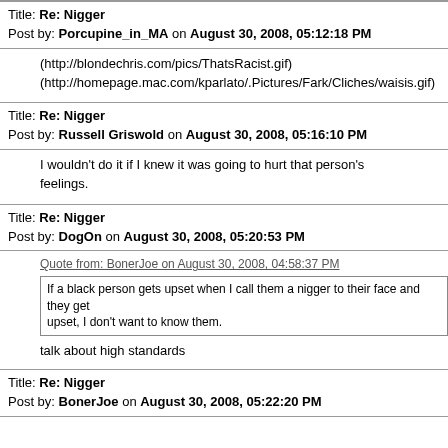Title: Re: Nigger
Post by: Porcupine_in_MA on August 30, 2008, 05:12:18 PM
(http://blondechris.com/pics/ThatsRacist.gif)
(http://homepage.mac.com/kparlato/.Pictures/Fark/Cliches/waisis.gif)
Title: Re: Nigger
Post by: Russell Griswold on August 30, 2008, 05:16:10 PM
I wouldn't do it if I knew it was going to hurt that person's feelings.
Title: Re: Nigger
Post by: DogOn on August 30, 2008, 05:20:53 PM
Quote from: BonerJoe on August 30, 2008, 04:58:37 PM
If a black person gets upset when I call them a nigger to their face and they get upset, I don't want to know them.
talk about high standards
Title: Re: Nigger
Post by: BonerJoe on August 30, 2008, 05:22:20 PM